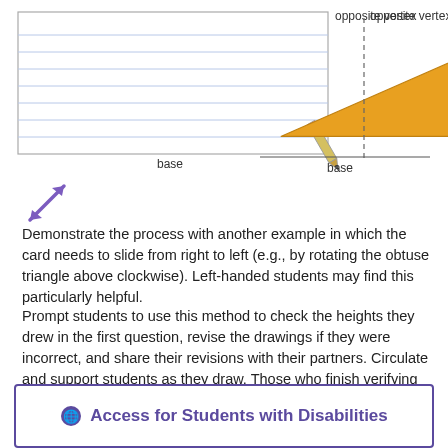[Figure (illustration): Two diagrams side by side. Left: a lined index card with a pencil at the lower-right corner, labeled 'base' below and 'opposite vertex' above-right. Right: an obtuse triangle (filled orange) with a dashed vertical line at the right vertex, labeled 'base' below and 'opposite vertex' above the dashed line.]
[Figure (illustration): Purple double-headed diagonal arrow icon indicating sliding/movement direction.]
Demonstrate the process with another example in which the card needs to slide from right to left (e.g., by rotating the obtuse triangle above clockwise). Left-handed students may find this particularly helpful.
Prompt students to use this method to check the heights they drew in the first question, revise the drawings if they were incorrect, and share their revisions with their partners. Circulate and support students as they draw. Those who finish verifying the heights in the first question can move on to complete the rest of the activity with their partners.
Access for Students with Disabilities